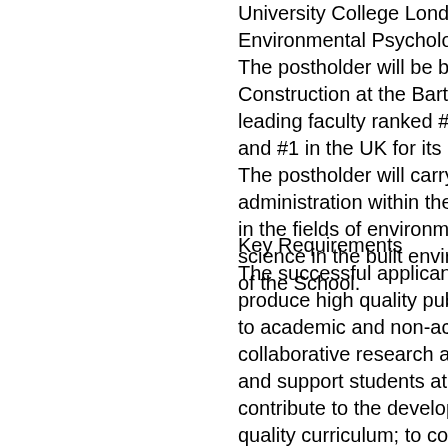University College London (UCL) Environmental Psychology or Soc... The postholder will be based at Th... Construction at the Bartlett Faculty leading faculty ranked #1 in the wo... and #1 in the UK for its research e... The postholder will carry out teach... administration within the Bartlett S... in the fields of environmental psych... science in the built environment, c... of the School.
Key Requirements
The successful applicant will be ex... produce high quality publications; t... to academic and non-academic sta... collaborative research and enterpr... and support students at undergrad... contribute to the development, pla... quality curriculum; to contribute to... forms of assessment; to participate... and build collaborations across UC... professional development. The appointee is required to have... experience of research or teaching... They will have a strong track recor...